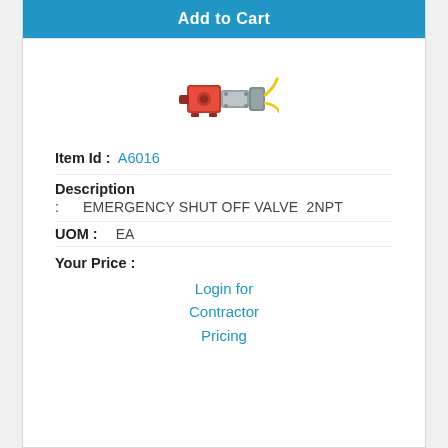Add to Cart
[Figure (photo): Red emergency shut off valve with yellow handle connector, side view]
Item Id : A6016
Description
: EMERGENCY SHUT OFF VALVE  2NPT
UOM :   EA
Your Price :
Login for Contractor Pricing